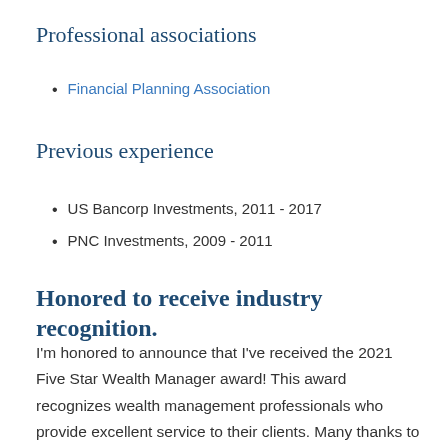Professional associations
Financial Planning Association
Previous experience
US Bancorp Investments, 2011 - 2017
PNC Investments, 2009 - 2011
Honored to receive industry recognition.
I'm honored to announce that I've received the 2021 Five Star Wealth Manager award! This award recognizes wealth management professionals who provide excellent service to their clients. Many thanks to my colleagues for their continued support, my clients for placing their